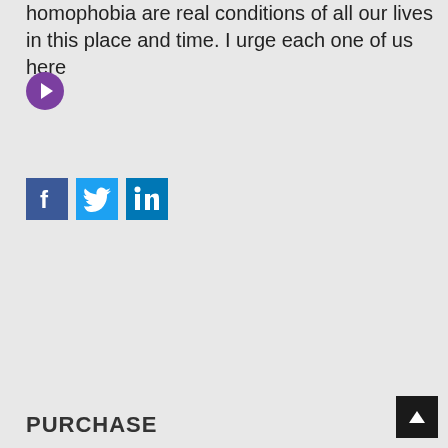homophobia are real conditions of all our lives in this place and time. I urge each one of us here
[Figure (infographic): Purple circle with white right-arrow icon, acting as a navigation button]
[Figure (infographic): Three social media sharing icons in a row: Facebook (blue), Twitter (light blue), LinkedIn (dark blue)]
PURCHASE
[Figure (infographic): Dark square back-to-top button with white upward chevron arrow]